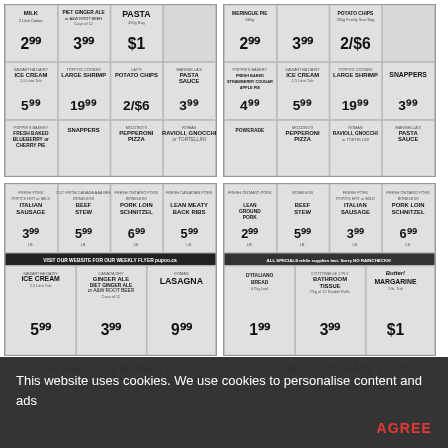[Figure (screenshot): Grocery store flyer thumbnail showing sale items including Milk, Piet Ginger Ale or A&W Root Beer, Pasta, Ice Cream, Large Shrimp, Lay's Potato Chips, Pasta Sauce, Blueberry or Cherry Pie, Snappers, Pepperoni Pizza, Ravioli Gnocchi or Tortellini]
from Mar 11, 21 till Mar 17, 21
[Figure (screenshot): Grocery store flyer thumbnail showing sale items including Meringue Pie, Potato Chips, Ice Cream, Large Shrimp, Snappers, Powerade, Pepperoni Pizza, Ravioli Gnocchi or Tortellini, Pasta Sauce]
from Mar 4, 21 till Mar 10, 21
[Figure (screenshot): Grocery store flyer thumbnail showing sale items including Italian Sausage, Beef Stew, Boneless Pork Loin Schnitzel, Lean Meaty Back Ribs, Ice Cream, Canada Dry Ginger Ale or A&W Root Beer, Roman Lasagna]
[Figure (screenshot): Grocery store flyer thumbnail showing sale items including Lean Ground Pork, Boneless Beef Stew, Italian Sausage, Pork Loin Schnitzel, D'Italiano Bread, Bathroom Tissue, Margarine]
This website uses cookies. We use cookies to personalise content and ads
AGREE